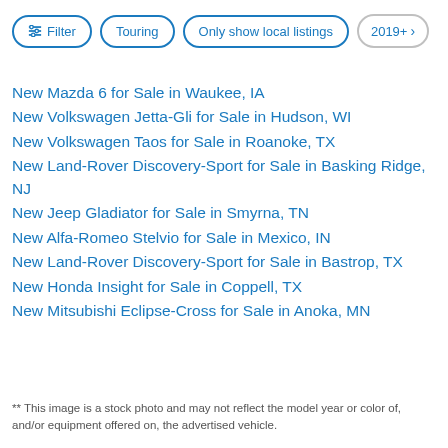Filter | Touring | Only show local listings | 2019+
New Mazda 6 for Sale in Waukee, IA
New Volkswagen Jetta-Gli for Sale in Hudson, WI
New Volkswagen Taos for Sale in Roanoke, TX
New Land-Rover Discovery-Sport for Sale in Basking Ridge, NJ
New Jeep Gladiator for Sale in Smyrna, TN
New Alfa-Romeo Stelvio for Sale in Mexico, IN
New Land-Rover Discovery-Sport for Sale in Bastrop, TX
New Honda Insight for Sale in Coppell, TX
New Mitsubishi Eclipse-Cross for Sale in Anoka, MN
** This image is a stock photo and may not reflect the model year or color of, and/or equipment offered on, the advertised vehicle.